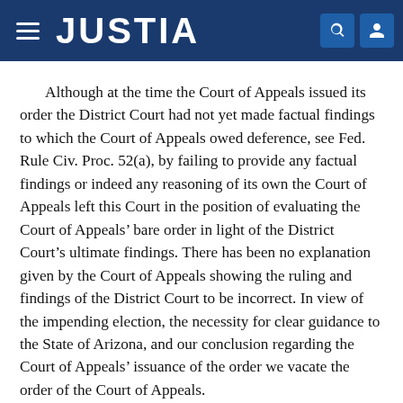JUSTIA
Although at the time the Court of Appeals issued its order the District Court had not yet made factual findings to which the Court of Appeals owed deference, see Fed. Rule Civ. Proc. 52(a), by failing to provide any factual findings or indeed any reasoning of its own the Court of Appeals left this Court in the position of evaluating the Court of Appeals’ bare order in light of the District Court’s ultimate findings. There has been no explanation given by the Court of Appeals showing the ruling and findings of the District Court to be incorrect. In view of the impending election, the necessity for clear guidance to the State of Arizona, and our conclusion regarding the Court of Appeals’ issuance of the order we vacate the order of the Court of Appeals.
We underscore that we express no opinion here on the correct disposition, after full briefing and argument